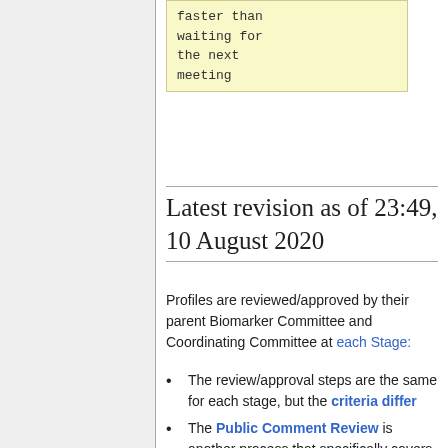faster than waiting for the next meeting
Latest revision as of 23:49, 10 August 2020
Profiles are reviewed/approved by their parent Biomarker Committee and Coordinating Committee at each Stage:
The review/approval steps are the same for each stage, but the criteria differ
The Public Comment Review is another process that specifically covers soliciting and resolving comments that can come from beyond the Committee.